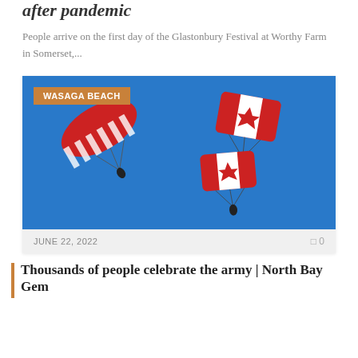after pandemic
People arrive on the first day of the Glastonbury Festival at Worthy Farm in Somerset,...
[Figure (photo): Two skydivers descending with Canadian flags and an American flag against a bright blue sky, with a WASAGA BEACH location badge overlay.]
JUNE 22, 2022    0
Thousands of people celebrate the army | North Bay Gem